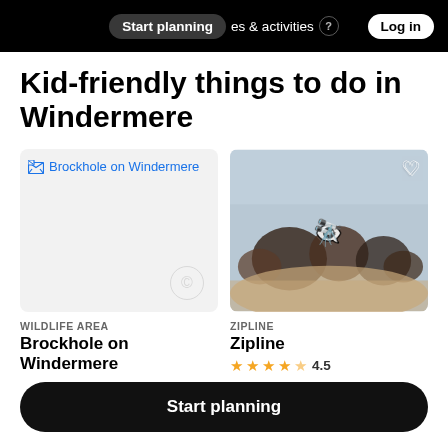Start planning  places & activities  Log in
Kid-friendly things to do in Windermere
[Figure (photo): Broken image placeholder showing link text 'Brockhole on Windermere' in blue]
Brockhole on Windermere
[Figure (photo): Blurred photo of animals (possibly bison/cattle) outdoors with binoculars emoji overlay and heart icon]
WILDLIFE AREA
Brockhole on Windermere
★★★★☆ 3.9
ZIPLINE
Zipline
★★★★½ 4.5
Duration: 2h 30 min
Start planning